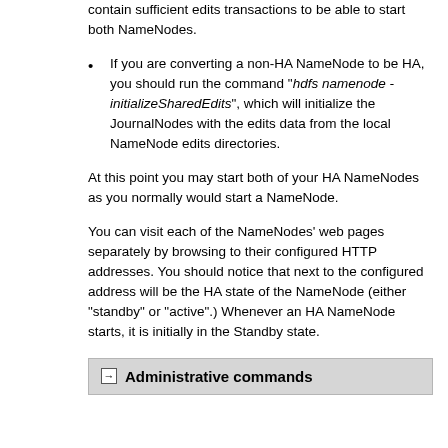contain sufficient edits transactions to be able to start both NameNodes.
If you are converting a non-HA NameNode to be HA, you should run the command "hdfs namenode -initializeSharedEdits", which will initialize the JournalNodes with the edits data from the local NameNode edits directories.
At this point you may start both of your HA NameNodes as you normally would start a NameNode.
You can visit each of the NameNodes' web pages separately by browsing to their configured HTTP addresses. You should notice that next to the configured address will be the HA state of the NameNode (either "standby" or "active".) Whenever an HA NameNode starts, it is initially in the Standby state.
Administrative commands